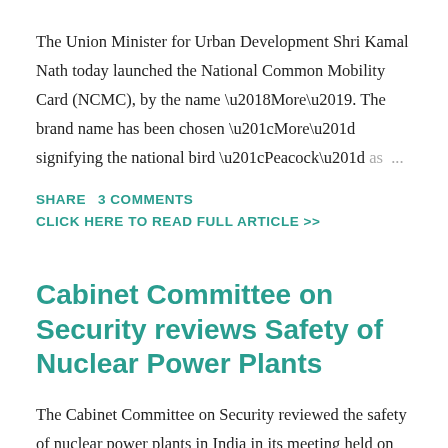The Union Minister for Urban Development Shri Kamal Nath today launched the National Common Mobility Card (NCMC), by the name ‘More’. The brand name has been chosen “More” signifying the national bird “Peacock” as ...
SHARE   3 COMMENTS
CLICK HERE TO READ FULL ARTICLE >>
Cabinet Committee on Security reviews Safety of Nuclear Power Plants
The Cabinet Committee on Security reviewed the safety of nuclear power plants in India in its meeting held on